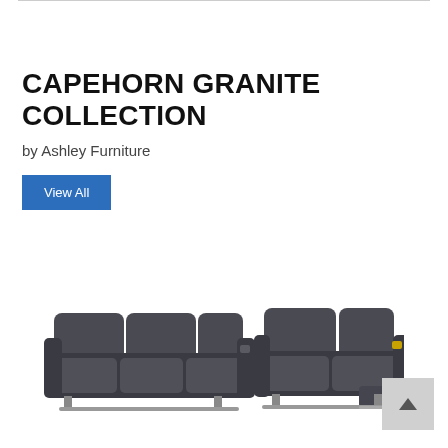CAPEHORN GRANITE COLLECTION
by Ashley Furniture
View All
[Figure (photo): Two dark grey reclining sofas from the Capehorn Granite Collection by Ashley Furniture, shown side by side. Left is a larger reclining sofa, right is a smaller loveseat recliner with footrest extended.]